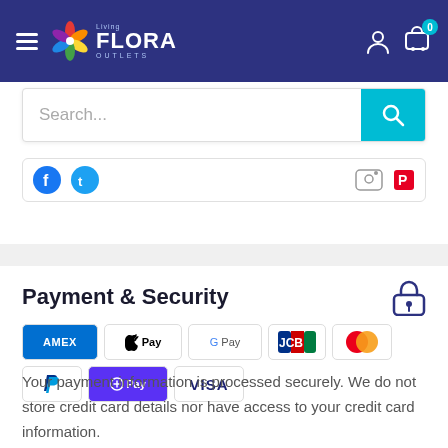Flora Living Outlets – navigation header with hamburger menu, logo, user icon, and cart (0)
Search...
[Figure (screenshot): Partial social media icons strip]
Payment & Security
[Figure (infographic): Payment method logos: American Express, Apple Pay, Google Pay, JCB, Mastercard, PayPal, Shop Pay (OPay), Visa]
Your payment information is processed securely. We do not store credit card details nor have access to your credit card information.